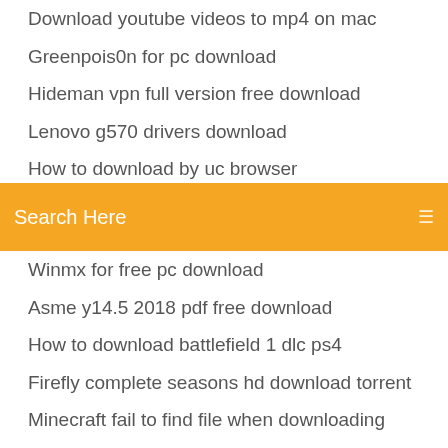Download youtube videos to mp4 on mac
Greenpois0n for pc download
Hideman vpn full version free download
Lenovo g570 drivers download
How to download by uc browser
Screenhunt download from torrent
[Figure (screenshot): Orange search bar overlay with text 'Search Here' and a menu icon on the right]
Winmx for free pc download
Asme y14.5 2018 pdf free download
How to download battlefield 1 dlc ps4
Firefly complete seasons hd download torrent
Minecraft fail to find file when downloading
League of l4egends game.cfg file download
Steam download mod id
Prentice hall algebra 1 pdf download
Nvidia drivers download but wont install
Hp officejet 8625 scanner driver download